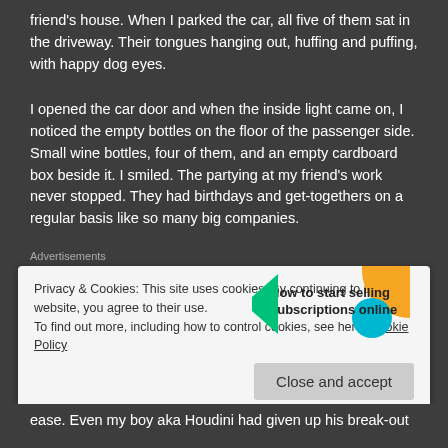friend's house. When I parked the car, all five of them sat in the driveway. Their tongues hanging out, huffing and puffing, with happy dog eyes.
I opened the car door and when the inside light came on, I noticed the empty bottles on the floor of the passenger side. Small wine bottles, four of them, and an empty cardboard box beside it. I smiled. The partying at my friend's work never stopped. They had birthdays and get-togethers on a regular basis like so many big companies.
[Figure (other): WooCommerce advertisement banner: purple left side with WooCommerce logo, white right side with text 'How to start selling subscriptions online', decorative colored shapes]
Privacy & Cookies: This site uses cookies. By continuing to use this website, you agree to their use.
To find out more, including how to control cookies, see here: Cookie Policy
ease. Even my boy aka Houdini had given up his break-out